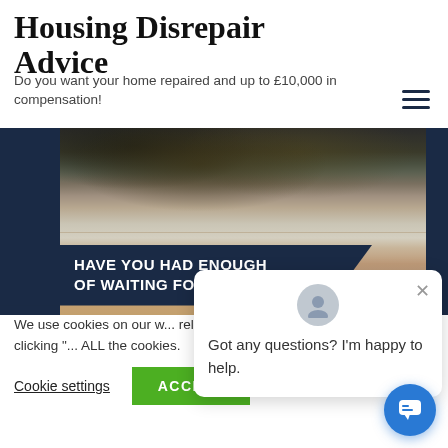Housing Disrepair Advice
Do you want your home repaired and up to £10,000 in compensation!
[Figure (photo): Photo showing mold-damaged ceiling and water-damaged floor in a home, used to illustrate housing disrepair]
HAVE YOU HAD ENOUGH OF WAITING FOR RE
We use cookies on our w... relevant experience by re... repeat visits. By clicking "... ALL the cookies.
Got any questions? I'm happy to help.
Cookie settings
ACCEPT